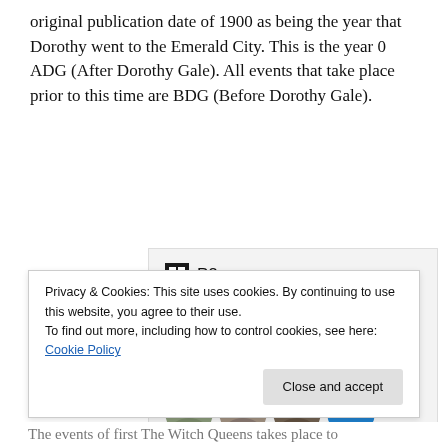original publication date of 1900 as being the year that Dorothy went to the Emerald City. This is the year 0 ADG (After Dorothy Gale). All events that take place prior to this time are BDG (Before Dorothy Gale).
[Figure (screenshot): P2 advertisement showing logo, tagline 'Getting your team on the same page is easy. And free.' with avatar photos below.]
Privacy & Cookies: This site uses cookies. By continuing to use this website, you agree to their use.
To find out more, including how to control cookies, see here: Cookie Policy
The events of first The Witch Queens takes place to